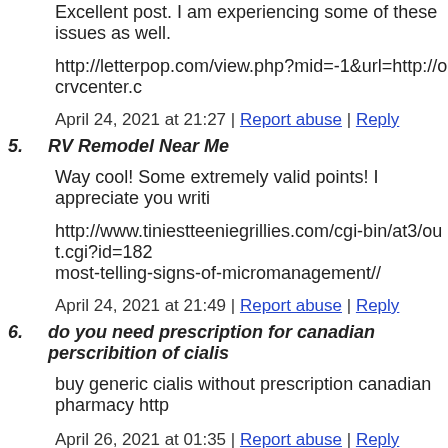Excellent post. I am experiencing some of these issues as well.
http://letterpop.com/view.php?mid=-1&url=http://ocrvcenter.c...
April 24, 2021 at 21:27 | Report abuse | Reply
5. RV Remodel Near Me
Way cool! Some extremely valid points! I appreciate you writi...
http://www.tiniestteniegirlies.com/cgi-bin/at3/out.cgi?id=182... most-telling-signs-of-micromanagement//
April 24, 2021 at 21:49 | Report abuse | Reply
6. do you need prescription for canadian perscribition of cialis ...
buy generic cialis without prescription canadian pharmacy http...
April 26, 2021 at 01:35 | Report abuse | Reply
7. pfizer viagra canada pharmistry
getting viagra from canada with no prescription https://canada...
April 26, 2021 at 04:25 | Report abuse | Reply
8. canada viagra scam
is it safe to get viagra from canada https://canadaviagrastore.co...